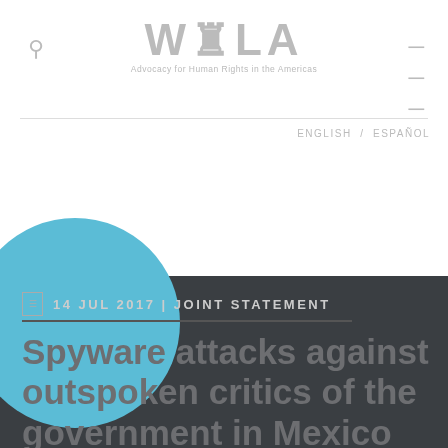WOLA — Advocacy for Human Rights in the Americas
ENGLISH / ESPAÑOL
[Figure (illustration): Light blue decorative circle partially visible in the lower-left area transitioning into the dark background section]
14 JUL 2017 | JOINT STATEMENT
Spyware attacks against outspoken critics of the government in Mexico